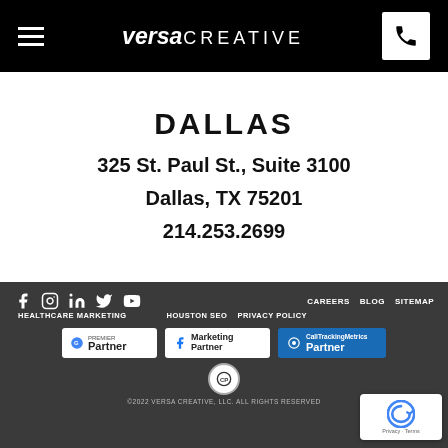versa CREATIVE — navigation header with hamburger menu and phone icon
DALLAS
325 St. Paul St., Suite 3100
Dallas, TX 75201
214.253.2699
Social icons: Facebook, Instagram, LinkedIn, Twitter, YouTube | CAREERS  BLOG  SITEMAP | HEALTHCARE MARKETING  HOUSTON SEO  PRIVACY POLICY | Google Partner | Facebook Marketing Partner | CallTrackingMetrics Partner | CP badge | ©2022 VERSA CREATIVE, LLC. ALL RIGHTS RESERVED